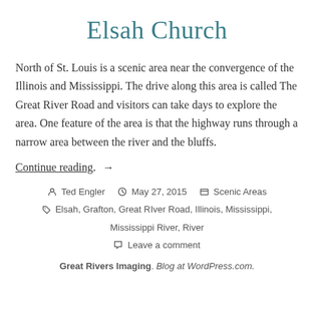Elsah Church
North of St. Louis is a scenic area near the convergence of the Illinois and Mississippi. The drive along this area is called The Great River Road and visitors can take days to explore the area. One feature of the area is that the highway runs through a narrow area between the river and the bluffs.
Continue reading. →
Ted Engler   May 27, 2015   Scenic Areas   Elsah, Grafton, Great RIver Road, Illinois, Mississippi, Mississippi River, River   Leave a comment
Great Rivers Imaging. Blog at WordPress.com.